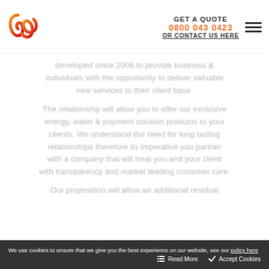[Figure (logo): Stylized orange/red script letter W logo]
GET A QUOTE 0800 043 0423 OR CONTACT US HERE
developed since 2006 to provide business & individuals with the opportunity to deliver valuable new services to their client base.
The relationship will allow you to offer our exclusive energy, water & payment solution products to your clients. We understand the need for long lasting relationships therefore its imperative you partner with a company that will treat you and your client with transparency and market leading customer care.
Our proposition will allow an additional residual
We use cookies to ensure that we give you the best experience on our website, see our policy here   Read More   Accept Cookies